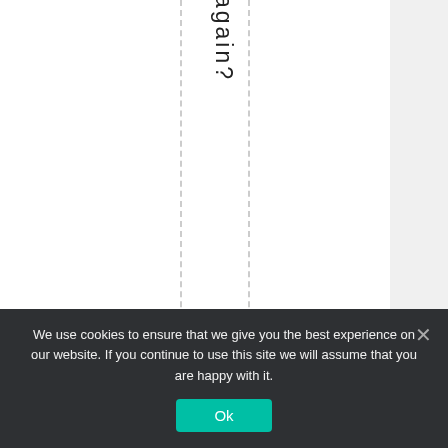again?
👍 10  👎 2
#2.1
[Figure (illustration): Cartoon star character with a skeptical/grumpy face on a purple gradient background, shown in a square with rounded corners]
Sce
ptic
We use cookies to ensure that we give you the best experience on our website. If you continue to use this site we will assume that you are happy with it.
Ok